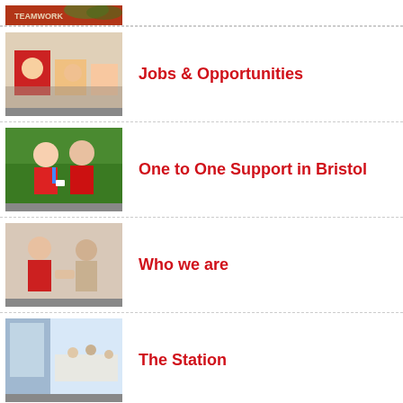[Figure (photo): Partial image at top of page, cropped, showing a red teamwork graphic with foliage]
Jobs & Opportunities
[Figure (photo): People sitting at a table with art supplies, one wearing red]
One to One Support in Bristol
[Figure (photo): Two young women smiling outdoors on grass, one in red shirt]
Who we are
[Figure (photo): Person in red uniform helping an older man indoors]
The Station
[Figure (photo): Interior of a bright open space/station building]
Refer a young person
[Figure (photo): Young man in red shirt smiling, another person with hijab]
Re
How can we help?